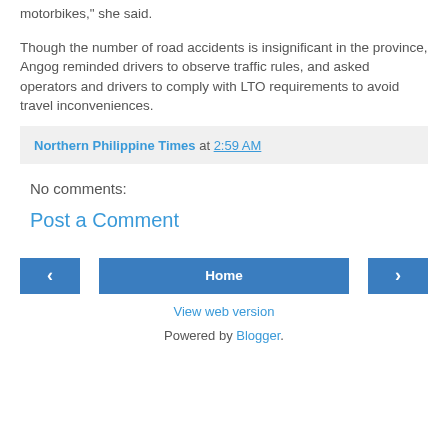motorbikes," she said.
Though the number of road accidents is insignificant in the province, Angog reminded drivers to observe traffic rules, and asked operators and drivers to comply with LTO requirements to avoid travel inconveniences.
Northern Philippine Times at 2:59 AM
No comments:
Post a Comment
Home
View web version
Powered by Blogger.